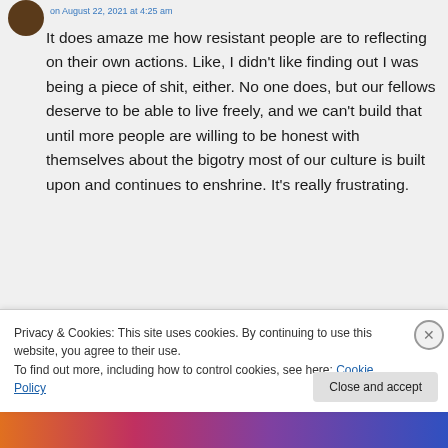It does amaze me how resistant people are to reflecting on their own actions. Like, I didn't like finding out I was being a piece of shit, either. No one does, but our fellows deserve to be able to live freely, and we can't build that until more people are willing to be honest with themselves about the bigotry most of our culture is built upon and continues to enshrine. It's really frustrating.
Privacy & Cookies: This site uses cookies. By continuing to use this website, you agree to their use.
To find out more, including how to control cookies, see here: Cookie Policy